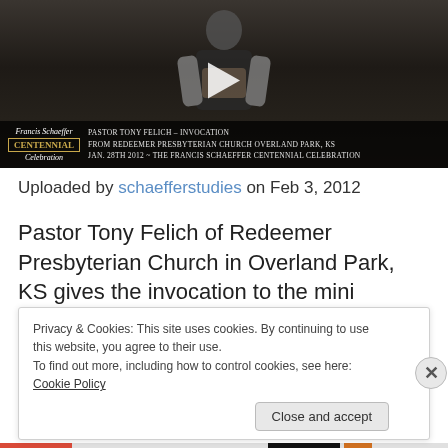[Figure (screenshot): Video thumbnail showing a man in dark clothing holding a book, with a play button overlay. Lower portion has dark overlay with Francis Schaeffer Centennial Celebration logo on left and text reading: PASTOR TONY FELICH – INVOCATION / FROM REDEEMER PRESBYTERIAN CHURCH OVERLAND PARK, KS / JAN. 28TH 2012 ~ THE FRANCIS SCHAEFFER CENTENNIAL CELEBRATION]
Uploaded by schaefferstudies on Feb 3, 2012
Pastor Tony Felich of Redeemer Presbyterian Church in Overland Park, KS gives the invocation to the mini conference event in honor of Francis Schaeffer's 100th
Privacy & Cookies: This site uses cookies. By continuing to use this website, you agree to their use.
To find out more, including how to control cookies, see here: Cookie Policy
Close and accept